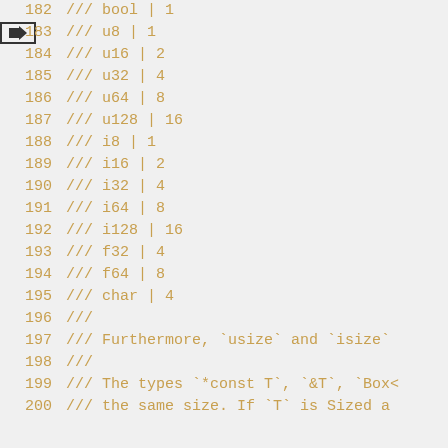182  /// bool | 1
183  /// u8 | 1
184  /// u16 | 2
185  /// u32 | 4
186  /// u64 | 8
187  /// u128 | 16
188  /// i8 | 1
189  /// i16 | 2
190  /// i32 | 4
191  /// i64 | 8
192  /// i128 | 16
193  /// f32 | 4
194  /// f64 | 8
195  /// char | 4
196  ///
197  /// Furthermore, `usize` and `isize`
198  ///
199  /// The types `*const T`, `&T`, `Box<
200  /// the same size. If `T` is Sized a